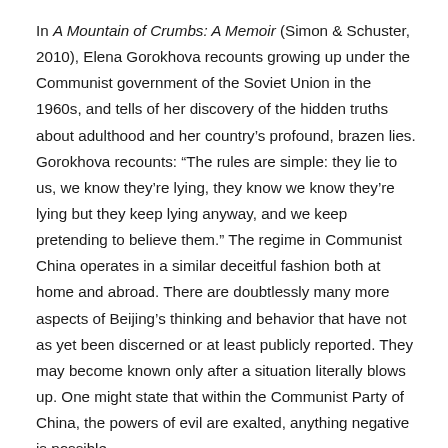In A Mountain of Crumbs: A Memoir (Simon & Schuster, 2010), Elena Gorokhova recounts growing up under the Communist government of the Soviet Union in the 1960s, and tells of her discovery of the hidden truths about adulthood and her country's profound, brazen lies. Gorokhova recounts: “The rules are simple: they lie to us, we know they’re lying, they know we know they’re lying but they keep lying anyway, and we keep pretending to believe them.” The regime in Communist China operates in a similar deceitful fashion both at home and abroad. There are doubtlessly many more aspects of Beijing’s thinking and behavior that have not as yet been discerned or at least publicly reported. They may become known only after a situation literally blows up. One might state that within the Communist Party of China, the powers of evil are exalted, anything negative is possible.